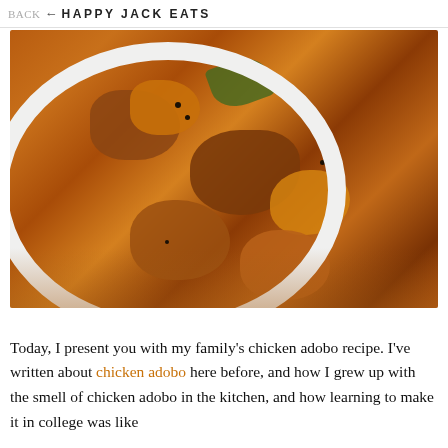BACK ← HAPPY JACK EATS
[Figure (photo): A white bowl filled with braised chicken adobo pieces in dark brown sauce with black peppercorns and green bay leaves, photographed close-up on a wooden surface.]
Today, I present you with my family's chicken adobo recipe. I've written about chicken adobo here before, and how I grew up with the smell of chicken adobo in the kitchen, and how learning to make it in college was like